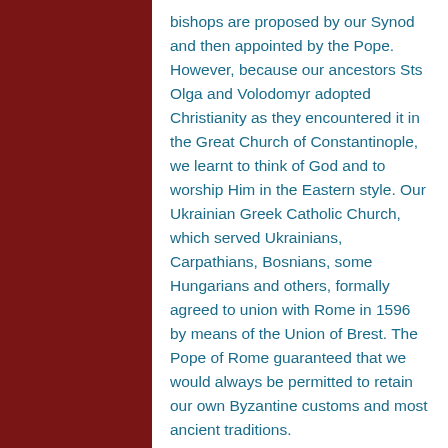bishops are proposed by our Synod and then appointed by the Pope. However, because our ancestors Sts Olga and Volodomyr adopted Christianity as they encountered it in the Great Church of Constantinople, we learnt to think of God and to worship Him in the Eastern style. Our Ukrainian Greek Catholic Church, which served Ukrainians, Carpathians, Bosnians, some Hungarians and others, formally agreed to union with Rome in 1596 by means of the Union of Brest. The Pope of Rome guaranteed that we would always be permitted to retain our own Byzantine customs and most ancient traditions.
Here, at St. Nicholas the Wonderworker, our services are mostly in English, with some parts in Ukrainian.